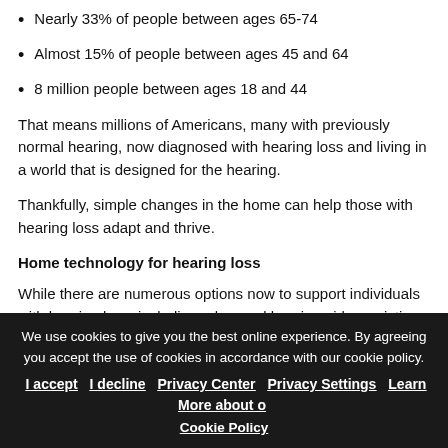Nearly 33% of people between ages 65-74
Almost 15% of people between ages 45 and 64
8 million people between ages 18 and 44
That means millions of Americans, many with previously normal hearing, now diagnosed with hearing loss and living in a world that is designed for the hearing.
Thankfully, simple changes in the home can help those with hearing loss adapt and thrive.
Home technology for hearing loss
While there are numerous options now to support individuals with hearing loss, including advanced hearing aids, assistive listening devices and even apps for everything under the sun, tools like these are an important consideration for the home:
We use cookies to give you the best online experience. By agreeing you accept the use of cookies in accordance with our cookie policy. I accept  I decline  Privacy Center  Privacy Settings  Learn More about our Cookie Policy